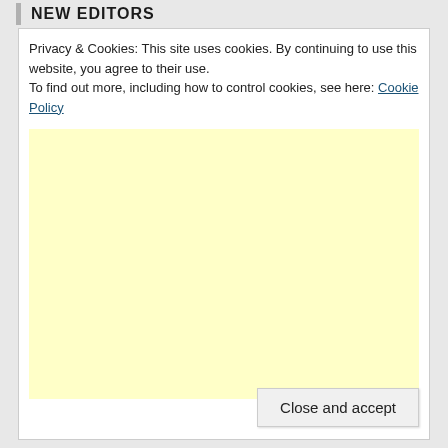NEW EDITORS
Privacy & Cookies: This site uses cookies. By continuing to use this website, you agree to their use.
To find out more, including how to control cookies, see here: Cookie Policy
[Figure (other): Yellow/cream colored advertisement placeholder block]
Close and accept